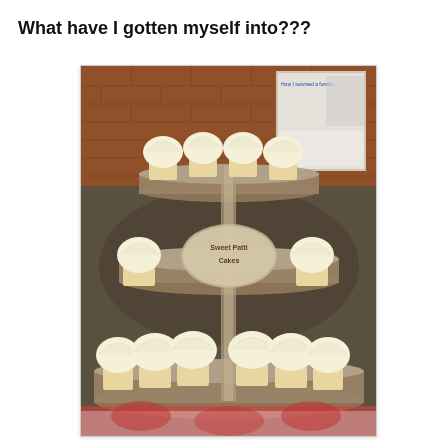What have I gotten myself into???
[Figure (photo): A three-tiered cupcake stand display filled with cupcakes topped with cream/vanilla frosting, placed in what appears to be a market or bakery setting. The middle tier has a circular 'Sweet Patti Cakes' sign. Background shows a brick wall and some signage.]